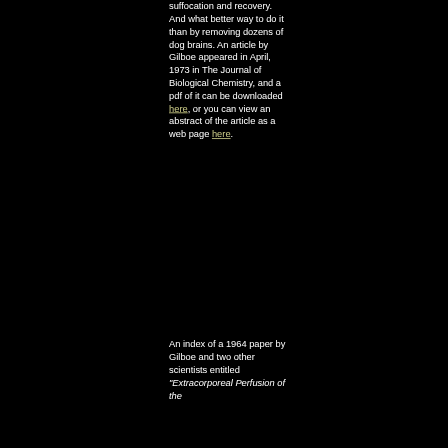suffocation and recovery. And what better way to do it than by removing dozens of dog brains. An article by Gilboe appeared in April, 1973 in The Journal of Biological Chemistry, and a pdf of it can be downloaded here, or you can view an abstract of the article as a web page here.
An index of a 1964 paper by Gilboe and two other scientists entitled "Extracorporeal Perfusion of the